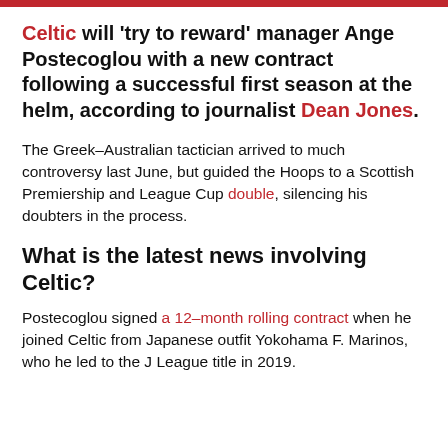Celtic will 'try to reward' manager Ange Postecoglou with a new contract following a successful first season at the helm, according to journalist Dean Jones.
The Greek–Australian tactician arrived to much controversy last June, but guided the Hoops to a Scottish Premiership and League Cup double, silencing his doubters in the process.
What is the latest news involving Celtic?
Postecoglou signed a 12-month rolling contract when he joined Celtic from Japanese outfit Yokohama F. Marinos, who he led to the J League title in 2019.